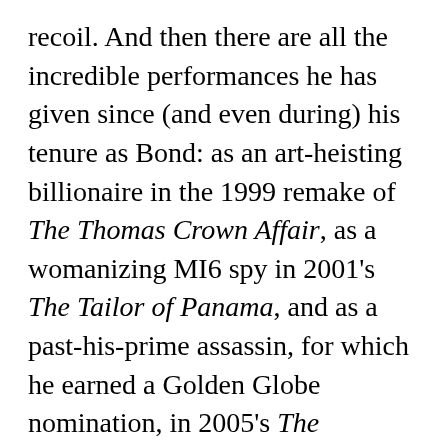recoil. And then there are all the incredible performances he has given since (and even during) his tenure as Bond: as an art-heisting billionaire in the 1999 remake of The Thomas Crown Affair, as a womanizing MI6 spy in 2001's The Tailor of Panama, and as a past-his-prime assassin, for which he earned a Golden Globe nomination, in 2005's The Matador.
But as he approaches his 64th birthday, Brosnan's best might be yet to come. This spring, he returned to television in AMC's The Son, based on the novel by Philipp Meyer, playing a